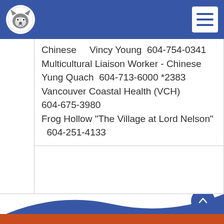Lord Nelson School – navigation bar with logo and menu
Chinese    Vincy Young  604-754-0341
Multicultural Liaison Worker - Chinese    Yung Quach  604-713-6000 *2383
Vancouver Coastal Health (VCH)
604-675-3980
Frog Hollow "The Village at Lord Nelson"
  604-251-4133
Footer with wave decoration and scroll-to-top button